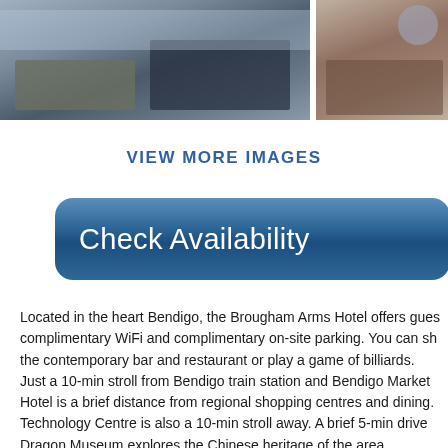[Figure (photo): Two hotel room photos side by side: left shows a living area with sofa and coffee table, right shows a kitchenette/desk area]
VIEW MORE IMAGES
[Figure (other): Blue rounded button with text 'Check Availability']
Located in the heart Bendigo, the Brougham Arms Hotel offers gues... complimentary WiFi and complimentary on-site parking. You can sh... the contemporary bar and restaurant or play a game of billiards. Just a 10-min stroll from Bendigo train station and Bendigo Market... Hotel is a brief distance from regional shopping centres and dining. Technology Centre is also a 10-min stroll away. A brief 5-min drive... Dragon Museum explores the Chinese heritage of the area. Each modern room at the Brougham Arms Hotel will provide you w... Television, air conditioning and a seating area. You can prepare ligh...